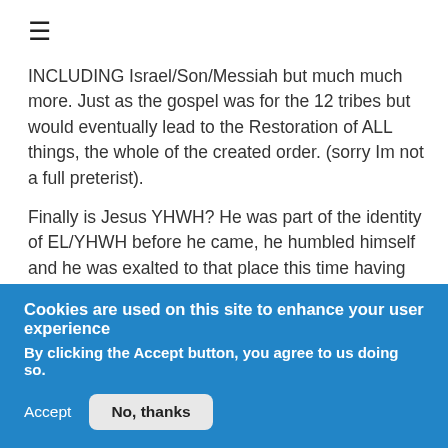[Figure (other): Hamburger menu icon (three horizontal lines)]
INCLUDING Israel/Son/Messiah but much much more. Just as the gospel was for the 12 tribes but would eventually lead to the Restoration of ALL things, the whole of the created order. (sorry Im not a full preterist).
Finally is Jesus YHWH? He was part of the identity of EL/YHWH before he came, he humbled himself and he was exalted to that place this time having won the victory for fallen humanity as a man.
who though he was in Gods form, did not
Cookies are used on this site to enhance your user experience
By clicking the Accept button, you agree to us doing so.
Accept
No, thanks